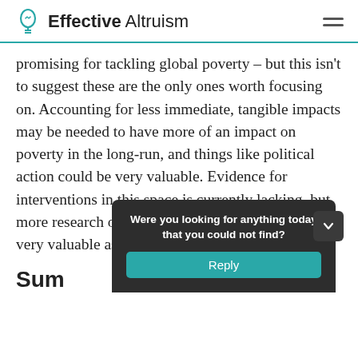Effective Altruism
promising for tackling global poverty – but this isn't to suggest these are the only ones worth focusing on. Accounting for less immediate, tangible impacts may be needed to have more of an impact on poverty in the long-run, and things like political action could be very valuable. Evidence for interventions in this space is currently lacking, but more research on opportunities in this area could be very valuable as it enables us to learn more.
Sum
Were you looking for anything today that you could not find?
Reply